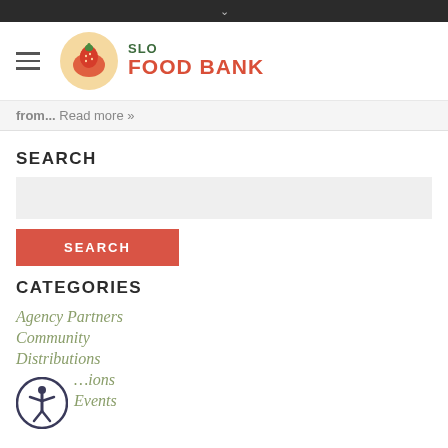SLO FOOD BANK
from... Read more »
SEARCH
CATEGORIES
Agency Partners
Community
Distributions
…ions
Events